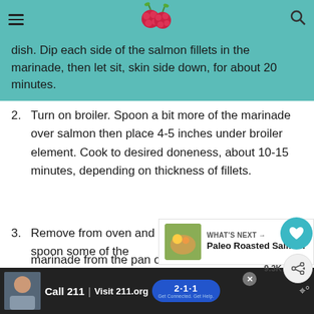Navigation bar with hamburger menu, raspberry logo, and search icon
dish. Dip each side of the salmon fillets in the marinade, then let sit, skin side down, for about 20 minutes.
2. Turn on broiler. Spoon a bit more of the marinade over salmon then place 4-5 inches under broiler element. Cook to desired doneness, about 10-15 minutes, depending on thickness of fillets.
3. Remove from oven and spoon some of the syrupy marinade from the pan over salmon before servi...
[Figure (other): What's Next card with photo of Paleo Roasted Salmon dish, arrow, and text 'WHAT'S NEXT → Paleo Roasted Salmon']
[Figure (screenshot): Advertisement banner: Call 211 | Visit 211.org with 2-1-1 badge logo and child photo]